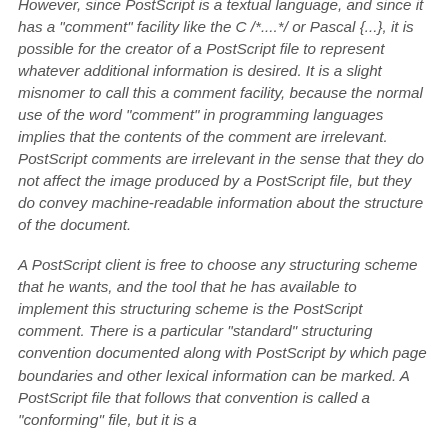However, since PostScript is a textual language, and since it has a "comment" facility like the C /*....*/ or Pascal {...}, it is possible for the creator of a PostScript file to represent whatever additional information is desired. It is a slight misnomer to call this a comment facility, because the normal use of the word "comment" in programming languages implies that the contents of the comment are irrelevant. PostScript comments are irrelevant in the sense that they do not affect the image produced by a PostScript file, but they do convey machine-readable information about the structure of the document.
A PostScript client is free to choose any structuring scheme that he wants, and the tool that he has available to implement this structuring scheme is the PostScript comment. There is a particular "standard" structuring convention documented along with PostScript by which page boundaries and other lexical information can be marked. A PostScript file that follows that convention is called a "conforming" file, but it is a